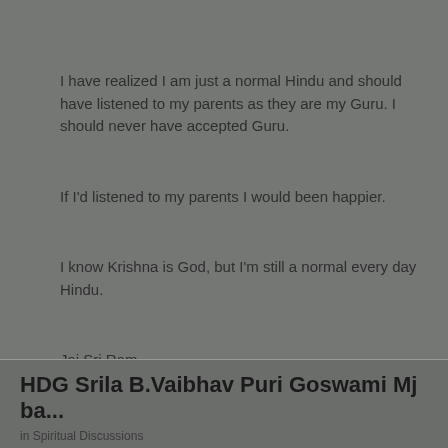I have realized I am just a normal Hindu and should have listened to my parents as they are my Guru. I should never have accepted Guru.
If I'd listened to my parents I would been happier.
I know Krishna is God, but I'm still a normal every day Hindu.
Jai Sri Ram
HDG Srila B.Vaibhav Puri Goswami Mj ba...
in Spiritual Discussions